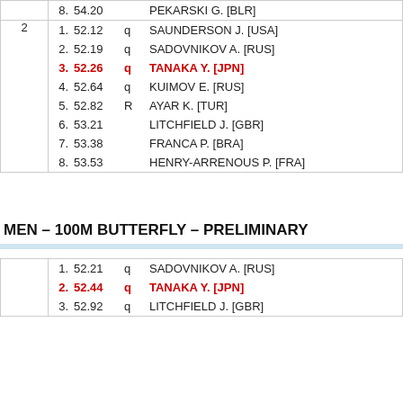| Heat | Rank | Time | Qual | Athlete |
| --- | --- | --- | --- | --- |
|  | 8. | 54.20 |  | PEKARSKI G. [BLR] |
| 2 | 1. | 52.12 | q | SAUNDERSON J. [USA] |
| 2 | 2. | 52.19 | q | SADOVNIKOV A. [RUS] |
| 2 | 3. | 52.26 | q | TANAKA Y. [JPN] |
| 2 | 4. | 52.64 | q | KUIMOV E. [RUS] |
| 2 | 5. | 52.82 | R | AYAR K. [TUR] |
| 2 | 6. | 53.21 |  | LITCHFIELD J. [GBR] |
| 2 | 7. | 53.38 |  | FRANCA P. [BRA] |
| 2 | 8. | 53.53 |  | HENRY-ARRENOUS P. [FRA] |
MEN – 100M BUTTERFLY – PRELIMINARY
| Heat | Rank | Time | Qual | Athlete |
| --- | --- | --- | --- | --- |
|  | 1. | 52.21 | q | SADOVNIKOV A. [RUS] |
|  | 2. | 52.44 | q | TANAKA Y. [JPN] |
|  | 3. | 52.92 | q | LITCHFIELD J. [GBR] |